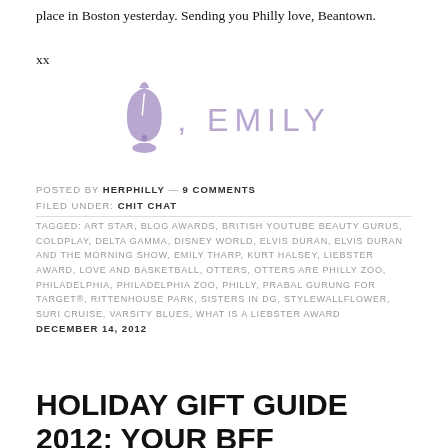place in Boston yesterday. Sending you Philly love, Beantown.
xx
[Figure (illustration): Purple Liberty Bell icon followed by the word EMILY in light purple uppercase letters — a blog signature graphic]
POSTED BY HERPHILLY — 9 COMMENTS
FILED UNDER: CHIT CHAT
TAGGED: ART STAR, BLOG AWARDS, BRITISH YOUTUBE BEAUTY GURUS, COLDPLAY, DELTA GAMMA, DISNEY WORLD, ELVIS DURAN, ELVIS DURAN AND THE MORNING SHOW, EMILY THARP, KURT HALSEY, LIEBSTER AWARD, LOVE AND BASKETBALL, OTTERS, OTTERS ARE PHILLY ZOO, PHILADELPHIA, PHILADELPHIA ZOO, PHILLY, PRABAL GURUNG FOR TARGET®, RITTENHOUSE PARK, SISTERS IN DG, STYLEWALLFLOWER, SURI CRUISE, VARSITY BLUES, WHAT IS A LIEBSTER AWARD
DECEMBER 14, 2012
HOLIDAY GIFT GUIDE 2012: YOUR BFF